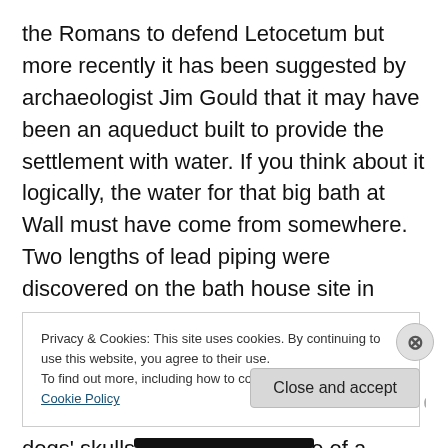the Romans to defend Letocetum but more recently it has been suggested by archaeologist Jim Gould that it may have been an aqueduct built to provide the settlement with water. If you think about it logically, the water for that big bath at Wall must have come from somewhere. Two lengths of lead piping were discovered on the bath house site in 1874, last seen in the Lichfield Museum in 1961 but long since vanished with much else of the collection. In a later excavation, deer horns, a number of dogs' skulls and the thigh bone of a teenage boy were discovered.
Unfortunately, so yet I can't find anything else about the
Privacy & Cookies: This site uses cookies. By continuing to use this website, you agree to their use.
To find out more, including how to control cookies, see here: Cookie Policy